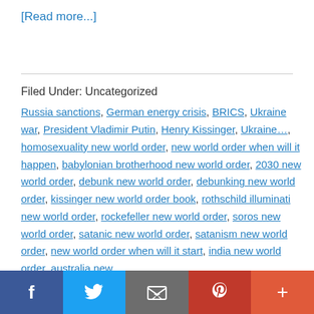[Read more...]
Filed Under: Uncategorized
Russia sanctions, German energy crisis, BRICS, Ukraine war, President Vladimir Putin, Henry Kissinger, Ukraine..., homosexuality new world order, new world order when will it happen, babylonian brotherhood new world order, 2030 new world order, debunk new world order, debunking new world order, kissinger new world order book, rothschild illuminati new world order, rockefeller new world order, soros new world order, satanic new world order, satanism new world order, new world order when will it start, india new world order, australia new
[Figure (other): Social sharing bar with Facebook, Twitter, Email, Pinterest, and plus buttons]